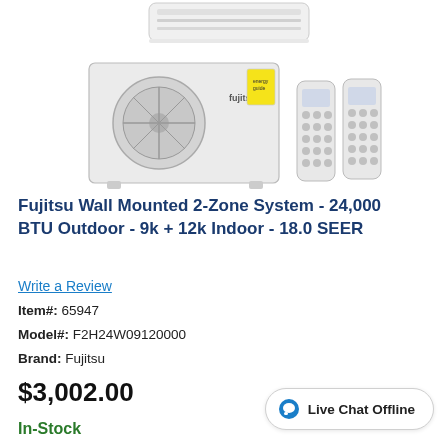[Figure (photo): Product photo showing Fujitsu mini-split wall mounted 2-zone system: indoor wall unit on top, outdoor compressor unit with yellow energy guide sticker in center-left, and two remote controls on the right.]
Fujitsu Wall Mounted 2-Zone System - 24,000 BTU Outdoor - 9k + 12k Indoor - 18.0 SEER
Write a Review
Item#: 65947
Model#: F2H24W09120000
Brand: Fujitsu
$3,002.00
In-Stock
Live Chat Offline